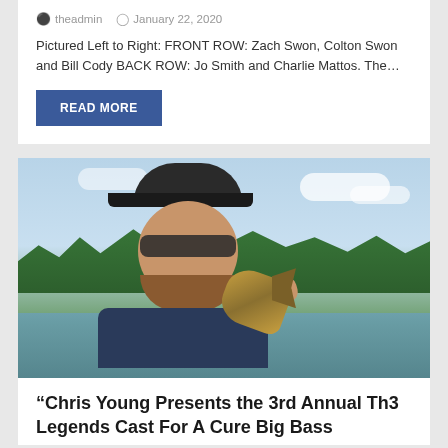theadmin   January 22, 2020
Pictured Left to Right: FRONT ROW: Zach Swon, Colton Swon and Bill Cody BACK ROW: Jo Smith and Charlie Mattos. The…
READ MORE
[Figure (photo): Man in a dark cap with logo and sunglasses, smiling, holding a large bass fish. Outdoors on a lake with trees in the background.]
“Chris Young Presents the 3rd Annual Th3 Legends Cast For A Cure Big Bass